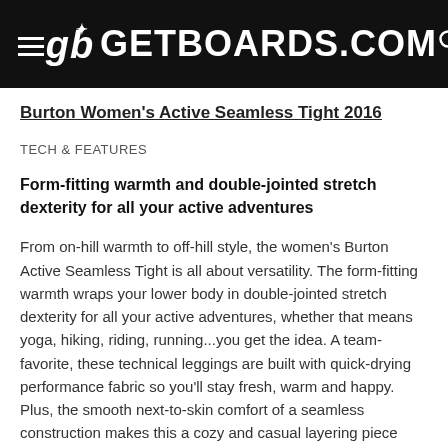GETBOARDS.COM
Burton Women's Active Seamless Tight 2016
TECH & FEATURES
Form-fitting warmth and double-jointed stretch dexterity for all your active adventures
From on-hill warmth to off-hill style, the women's Burton Active Seamless Tight is all about versatility. The form-fitting warmth wraps your lower body in double-jointed stretch dexterity for all your active adventures, whether that means yoga, hiking, riding, running...you get the idea. A team-favorite, these technical leggings are built with quick-drying performance fabric so you'll stay fresh, warm and happy. Plus, the smooth next-to-skin comfort of a seamless construction makes this a cozy and casual layering piece long after the lifts stop spinning.